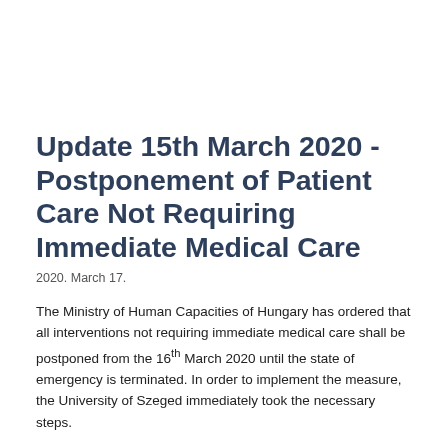Update 15th March 2020 - Postponement of Patient Care Not Requiring Immediate Medical Care
2020. March 17.
The Ministry of Human Capacities of Hungary has ordered that all interventions not requiring immediate medical care shall be postponed from the 16th March 2020 until the state of emergency is terminated. In order to implement the measure, the University of Szeged immediately took the necessary steps.